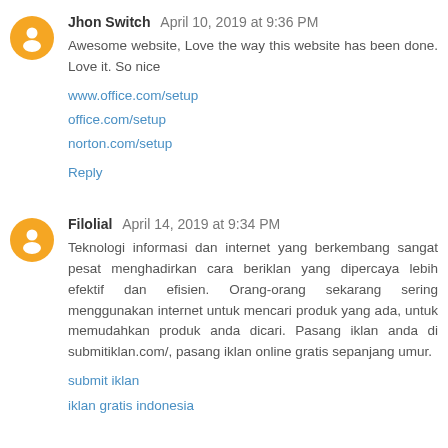Jhon Switch April 10, 2019 at 9:36 PM
Awesome website, Love the way this website has been done. Love it. So nice
www.office.com/setup
office.com/setup
norton.com/setup
Reply
Filolial April 14, 2019 at 9:34 PM
Teknologi informasi dan internet yang berkembang sangat pesat menghadirkan cara beriklan yang dipercaya lebih efektif dan efisien. Orang-orang sekarang sering menggunakan internet untuk mencari produk yang ada, untuk memudahkan produk anda dicari. Pasang iklan anda di submitiklan.com/, pasang iklan online gratis sepanjang umur.
submit iklan
iklan gratis indonesia